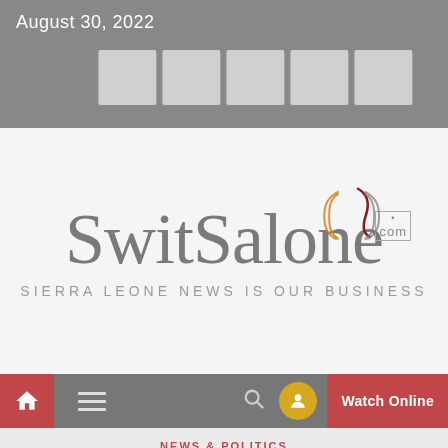August 30, 2022
[Figure (logo): SwitSalone.com logo with tagline SIERRA LEONE NEWS IS OUR BUSINESS on light gray background]
[Figure (screenshot): Website navigation bar with home icon (red), hamburger menu, search icon, gold circle icon, and Watch Online red button]